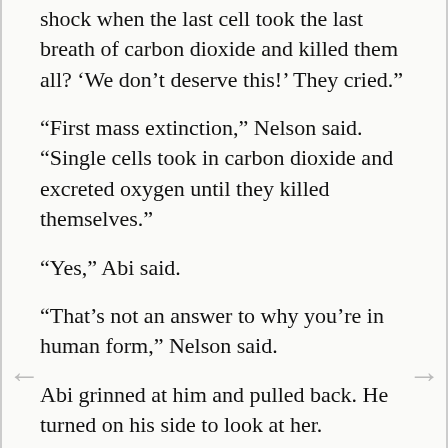shock when the last cell took the last breath of carbon dioxide and killed them all? ‘We don’t deserve this!’ They cried.”
“First mass extinction,” Nelson said. “Single cells took in carbon dioxide and excreted oxygen until they killed themselves.”
“Yes,” Abi said.
“That’s not an answer to why you’re in human form,” Nelson said.
Abi grinned at him and pulled back. He turned on his side to look at her.
“I won’t tell anyone,” Nelson said.
“I wanted to see what it was like,” Abi